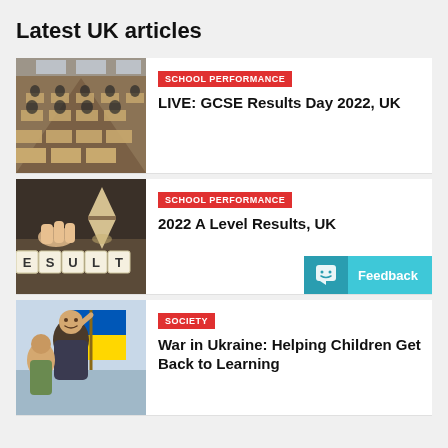Latest UK articles
[Figure (photo): Students sitting in rows at desks in an exam hall]
SCHOOL PERFORMANCE
LIVE: GCSE Results Day 2022, UK
[Figure (photo): Scrabble tiles spelling RESULTS on a wooden surface with an hourglass]
SCHOOL PERFORMANCE
2022 A Level Results, UK
[Figure (photo): Child holding a Ukrainian flag]
SOCIETY
War in Ukraine: Helping Children Get Back to Learning